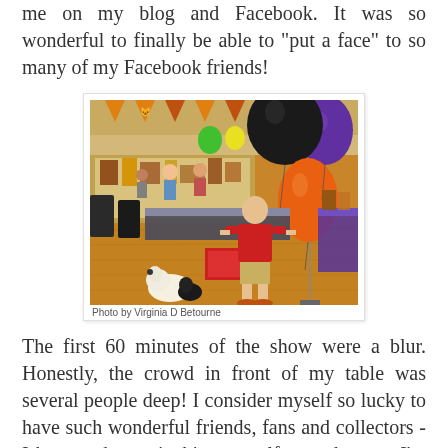me on my blog and Facebook. It was so wonderful to finally be able to "put a face" to so many of my Facebook friends!
[Figure (photo): Indoor event/show scene with colorful balloons (black, orange, purple, green) and pennant banners. Tables with displays visible in background. A person in a red shirt stands at a table. A fluffy dog visible in foreground. Caption reads: Photo by Virginia D Betourne]
Photo by Virginia D Betourne
The first 60 minutes of the show were a blur. Honestly, the crowd in front of my table was several people deep! I consider myself so lucky to have such wonderful friends, fans and collectors - I have to keep pinching myself to make sure I'm not dreaming. I wanted to talk at length with each